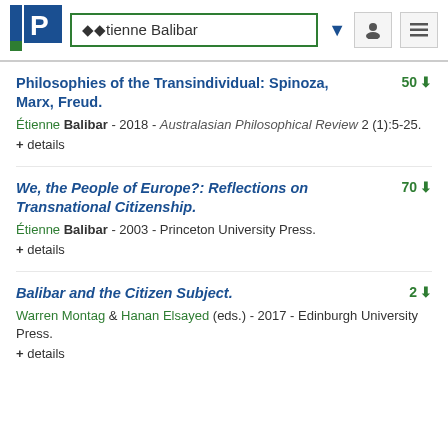��tienne Balibar
Philosophies of the Transindividual: Spinoza, Marx, Freud.
Étienne Balibar - 2018 - Australasian Philosophical Review 2 (1):5-25. + details  50 downloads
We, the People of Europe?: Reflections on Transnational Citizenship.
Étienne Balibar - 2003 - Princeton University Press. + details  70 downloads
Balibar and the Citizen Subject.
Warren Montag & Hanan Elsayed (eds.) - 2017 - Edinburgh University Press. + details  2 downloads